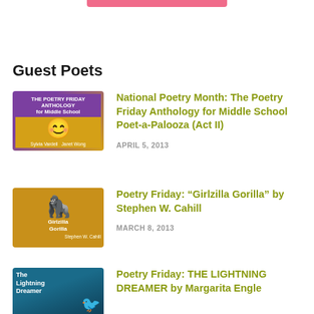Guest Poets
[Figure (illustration): Book cover: The Poetry Friday Anthology for Middle School]
National Poetry Month: The Poetry Friday Anthology for Middle School Poet-a-Palooza (Act II)
APRIL 5, 2013
[Figure (illustration): Book cover: Girlzilla Gorilla by Stephen W. Cahill]
Poetry Friday: “Girlzilla Gorilla” by Stephen W. Cahill
MARCH 8, 2013
[Figure (illustration): Book cover: The Lightning Dreamer by Margarita Engle]
Poetry Friday: THE LIGHTNING DREAMER by Margarita Engle